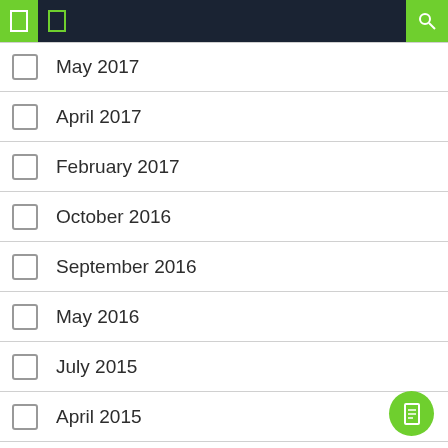Navigation header bar with menu and search icons
May 2017
April 2017
February 2017
October 2016
September 2016
May 2016
July 2015
April 2015
January 2015
September 2014